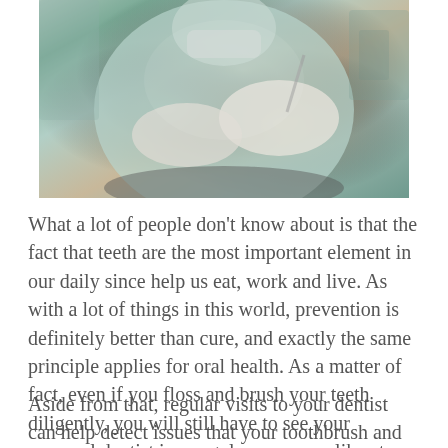[Figure (photo): A dentist in light green scrubs and white gloves examining a patient's mouth. The dentist is wearing a face mask and using dental instruments. Medical equipment is visible in the background.]
What a lot of people don't know about is that the fact that teeth are the most important element in our daily since help us eat, work and live. As with a lot of things in this world, prevention is definitely better than cure, and exactly the same principle applies for oral health. As a matter of fact, even if you floss and brush your teeth diligently, you will still have to see your personal dentist in a regular manner – like at least twice a year.
Aside from that, regular visits to your dentist can help detect issues that your toothbrush and floss cannot do and these certain dental issues often include oral